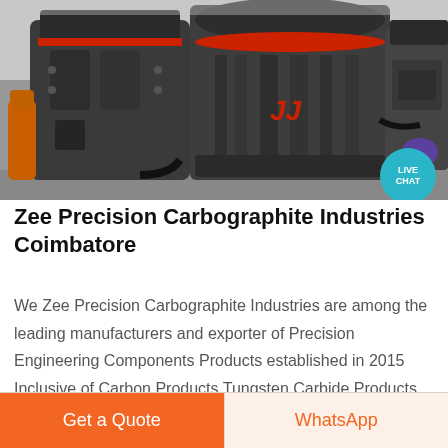[Figure (photo): Industrial heavy machinery (crusher/mill equipment) in a factory setting, with grey metal body and red accent parts. A 'LIVE CHAT' teal bubble is overlaid in the bottom-right of the image.]
Zee Precision Carbographite Industries Coimbatore
We Zee Precision Carbographite Industries are among the leading manufacturers and exporter of Precision Engineering Components Products established in 2015 Inclusive of Carbon Products Tungsten Carbide Products Silicon Carbide Products etc.
Get a Quote
WhatsApp